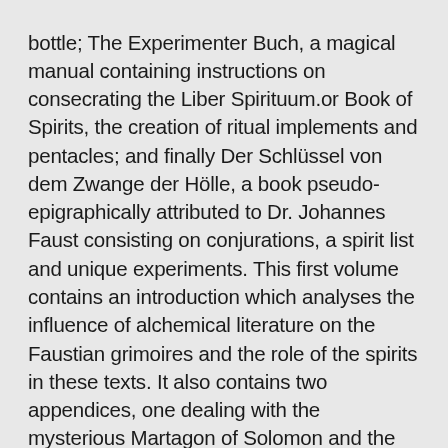bottle; The Experimenter Buch, a magical manual containing instructions on consecrating the Liber Spirituum.or Book of Spirits, the creation of ritual implements and pentacles; and finally Der Schlüssel von dem Zwange der Hölle, a book pseudo-epigraphically attributed to Dr. Johannes Faust consisting on conjurations, a spirit list and unique experiments. This first volume contains an introduction which analyses the influence of alchemical literature on the Faustian grimoires and the role of the spirits in these texts. It also contains two appendices, one dealing with the mysterious Martagon of Solomon and the change of this plant's meaning and use in the magical texts; and the other with the subject of the Bond, Imprisonment of Spirits and the Triangle of Art as they relate to the present text.